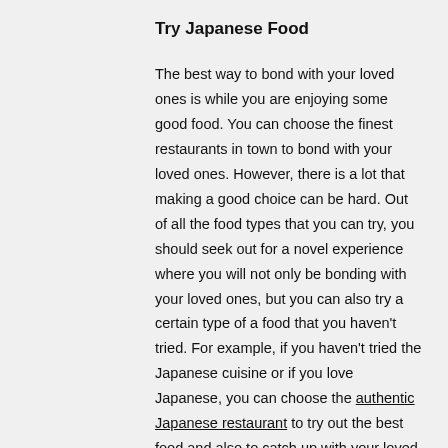Try Japanese Food
The best way to bond with your loved ones is while you are enjoying some good food. You can choose the finest restaurants in town to bond with your loved ones. However, there is a lot that making a good choice can be hard. Out of all the food types that you can try, you should seek out for a novel experience where you will not only be bonding with your loved ones, but you can also try a certain type of a food that you haven't tried. For example, if you haven't tried the Japanese cuisine or if you love Japanese, you can choose the authentic Japanese restaurant to try out the best food and also to catch up with your loved ones as well.